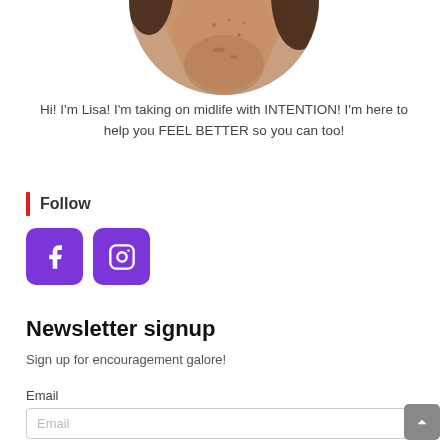[Figure (photo): Circular cropped photo showing the lower face and neck of a person, skin visible with some freckles/spots]
Hi! I'm Lisa! I'm taking on midlife with INTENTION! I'm here to help you FEEL BETTER so you can too!
Follow
[Figure (infographic): Two purple square icon buttons: Facebook (f icon) and Instagram (camera icon)]
Newsletter signup
Sign up for encouragement galore!
Email